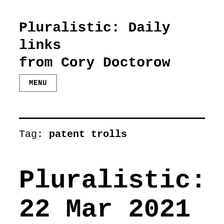Pluralistic: Daily links from Cory Doctorow
MENU
Tag: patent trolls
Pluralistic: 22 Mar 2021